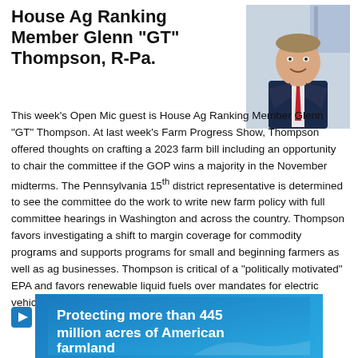House Ag Ranking Member Glenn "GT" Thompson, R-Pa.
[Figure (photo): Official portrait photo of Glenn 'GT' Thompson in a suit with a red tie, smiling, with an American flag in the background]
This week's Open Mic guest is House Ag Ranking Member Glenn "GT" Thompson. At last week's Farm Progress Show, Thompson offered thoughts on crafting a 2023 farm bill including an opportunity to chair the committee if the GOP wins a majority in the November midterms. The Pennsylvania 15th district representative is determined to see the committee do the work to write new farm policy with full committee hearings in Washington and across the country. Thompson favors investigating a shift to margin coverage for commodity programs and supports programs for small and beginning farmers as well as ag businesses. Thompson is critical of a "politically motivated" EPA and favors renewable liquid fuels over mandates for electric vehicles.
LISTEN HERE
[Figure (infographic): Blue banner advertisement with white bold text reading: Protecting more than 445 million acres of American farmland]